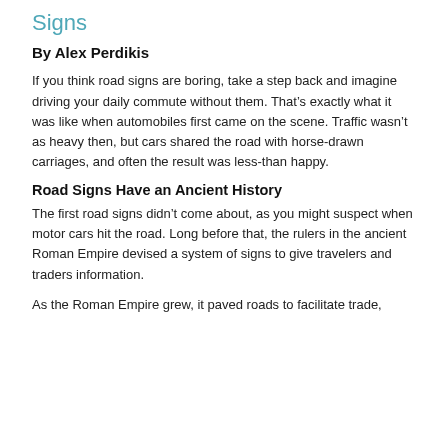Signs
By Alex Perdikis
If you think road signs are boring, take a step back and imagine driving your daily commute without them. That’s exactly what it was like when automobiles first came on the scene. Traffic wasn’t as heavy then, but cars shared the road with horse-drawn carriages, and often the result was less-than happy.
Road Signs Have an Ancient History
The first road signs didn’t come about, as you might suspect when motor cars hit the road. Long before that, the rulers in the ancient Roman Empire devised a system of signs to give travelers and traders information.
As the Roman Empire grew, it paved roads to facilitate trade,